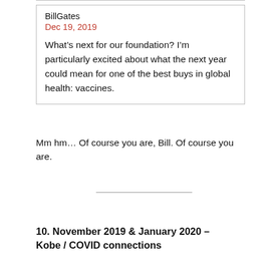BillGates
Dec 19, 2019
What’s next for our foundation? I’m particularly excited about what the next year could mean for one of the best buys in global health: vaccines.
Mm hm… Of course you are, Bill. Of course you are.
10. November 2019 & January 2020 – Kobe / COVID connections